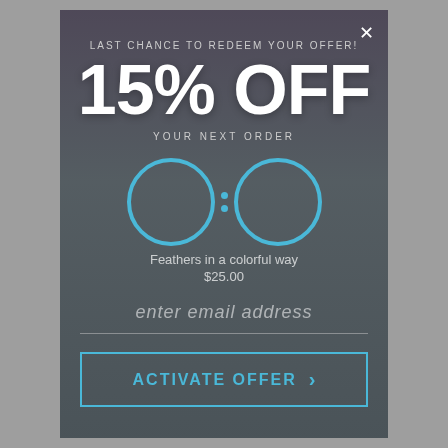LAST CHANCE TO REDEEM YOUR OFFER!
15% OFF
YOUR NEXT ORDER
[Figure (other): Countdown timer with two large circular outlines in light blue with a colon separator between them]
Feathers in a colorful way
$25.00
enter email address
ACTIVATE OFFER